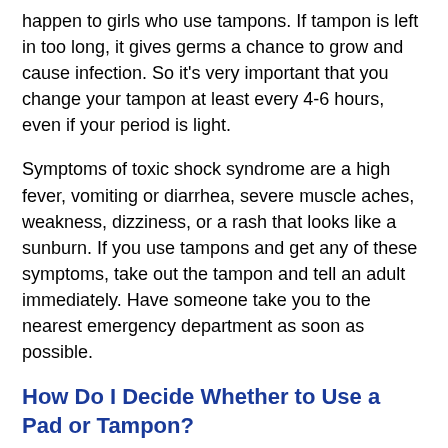happen to girls who use tampons. If tampon is left in too long, it gives germs a chance to grow and cause infection. So it's very important that you change your tampon at least every 4-6 hours, even if your period is light.
Symptoms of toxic shock syndrome are a high fever, vomiting or diarrhea, severe muscle aches, weakness, dizziness, or a rash that looks like a sunburn. If you use tampons and get any of these symptoms, take out the tampon and tell an adult immediately. Have someone take you to the nearest emergency department as soon as possible.
How Do I Decide Whether to Use a Pad or Tampon?
When deciding whether to use pads or tampons, it's really up to you. Many girls start out using pads, but